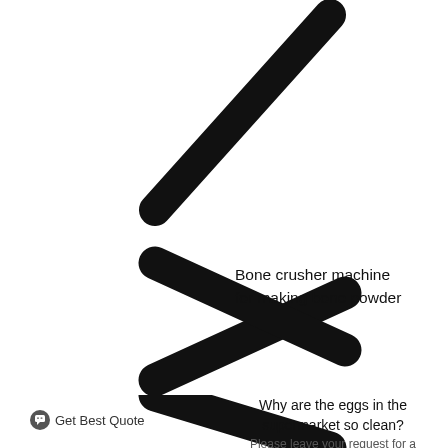[Figure (illustration): Diagonal slash stroke (thick rounded black line going from lower-left to upper-right), partially cropped at top of page]
[Figure (illustration): Greater-than chevron symbol (thick rounded black lines forming a right-pointing angle bracket/chevron)]
Bone crusher machine for making bone powder
Why are the eggs in the supermarket so clean?
Please leave your request for a quote.
Get Best Quote